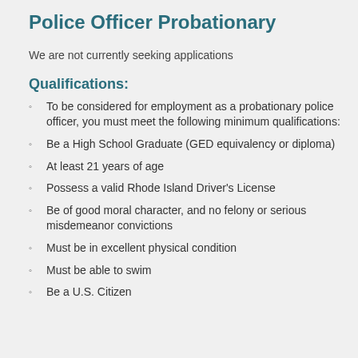Police Officer Probationary
We are not currently seeking applications
Qualifications:
To be considered for employment as a probationary police officer, you must meet the following minimum qualifications:
Be a High School Graduate (GED equivalency or diploma)
At least 21 years of age
Possess a valid Rhode Island Driver's License
Be of good moral character, and no felony or serious misdemeanor convictions
Must be in excellent physical condition
Must be able to swim
Be a U.S. Citizen